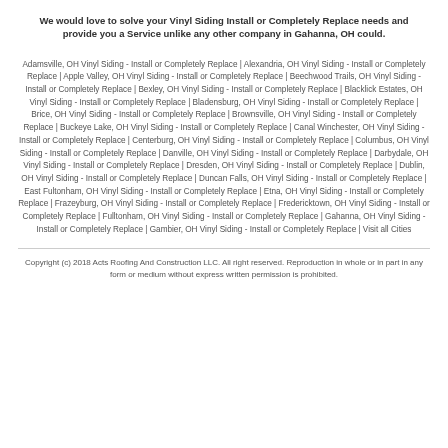We would love to solve your Vinyl Siding Install or Completely Replace needs and provide you a Service unlike any other company in Gahanna, OH could.
Adamsville, OH Vinyl Siding - Install or Completely Replace | Alexandria, OH Vinyl Siding - Install or Completely Replace | Apple Valley, OH Vinyl Siding - Install or Completely Replace | Beechwood Trails, OH Vinyl Siding - Install or Completely Replace | Bexley, OH Vinyl Siding - Install or Completely Replace | Blacklick Estates, OH Vinyl Siding - Install or Completely Replace | Bladensburg, OH Vinyl Siding - Install or Completely Replace | Brice, OH Vinyl Siding - Install or Completely Replace | Brownsville, OH Vinyl Siding - Install or Completely Replace | Buckeye Lake, OH Vinyl Siding - Install or Completely Replace | Canal Winchester, OH Vinyl Siding - Install or Completely Replace | Centerburg, OH Vinyl Siding - Install or Completely Replace | Columbus, OH Vinyl Siding - Install or Completely Replace | Danville, OH Vinyl Siding - Install or Completely Replace | Darbydale, OH Vinyl Siding - Install or Completely Replace | Dresden, OH Vinyl Siding - Install or Completely Replace | Dublin, OH Vinyl Siding - Install or Completely Replace | Duncan Falls, OH Vinyl Siding - Install or Completely Replace | East Fultonham, OH Vinyl Siding - Install or Completely Replace | Etna, OH Vinyl Siding - Install or Completely Replace | Frazeyburg, OH Vinyl Siding - Install or Completely Replace | Fredericktown, OH Vinyl Siding - Install or Completely Replace | Fulltonham, OH Vinyl Siding - Install or Completely Replace | Gahanna, OH Vinyl Siding - Install or Completely Replace | Gambier, OH Vinyl Siding - Install or Completely Replace | Visit all Cities
Copyright (c) 2018 Acts Roofing And Construction LLC. All right reserved. Reproduction in whole or in part in any form or medium without express written permission is prohibited.